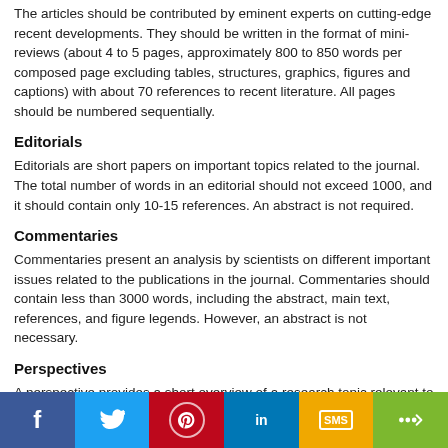The articles should be contributed by eminent experts on cutting-edge recent developments. They should be written in the format of mini-reviews (about 4 to 5 pages, approximately 800 to 850 words per composed page excluding tables, structures, graphics, figures and captions) with about 70 references to recent literature. All pages should be numbered sequentially.
Editorials
Editorials are short papers on important topics related to the journal. The total number of words in an editorial should not exceed 1000, and it should contain only 10-15 references. An abstract is not required.
Commentaries
Commentaries present an analysis by scientists on different important issues related to the publications in the journal. Commentaries should contain less than 3000 words, including the abstract, main text, references, and figure legends. However, an abstract is not necessary.
Perspectives
A perspective provides a short overview of a research topic relevant to the field. The length of a published perspective ranges from 1500 to 1800 words, with 20 or